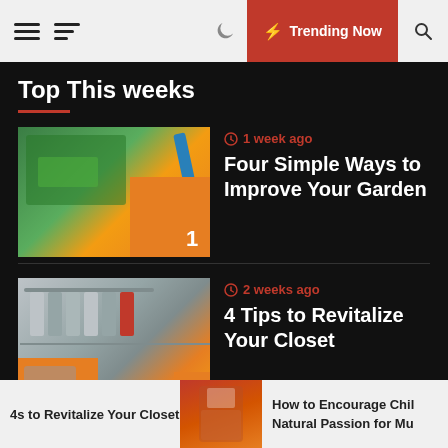Trending Now
Top This weeks
1 week ago
Four Simple Ways to Improve Your Garden
2 weeks ago
4 Tips to Revitalize Your Closet
Follow US
[Figure (infographic): Social media follow icons: Twitter, Instagram, LinkedIn, Pinterest]
4s to Revitalize Your Closet  |  How to Encourage Chil Natural Passion for Mu